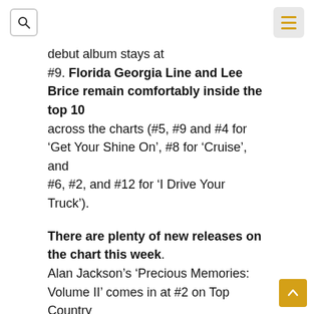[search icon] [menu icon]
debut album stays at #9. Florida Georgia Line and Lee Brice remain comfortably inside the top 10 across the charts (#5, #9 and #4 for ‘Get Your Shine On’, #8 for ‘Cruise’, and #6, #2, and #12 for ‘I Drive Your Truck’).
There are plenty of new releases on the chart this week. Alan Jackson’s ‘Precious Memories: Volume II’ comes in at #2 on Top Country Albums, while ‘Just Feels Good’ by Thompson Square is just below it at #4. The ‘ACMs Official 2013 Zinepak’ debuts at #11 in light of the upcoming awards show, while